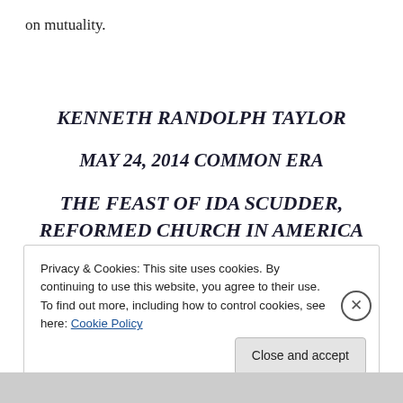on mutuality.
KENNETH RANDOLPH TAYLOR
MAY 24, 2014 COMMON ERA
THE FEAST OF IDA SCUDDER, REFORMED CHURCH IN AMERICA MEDICAL MISSIONARY IN INDIA
Privacy & Cookies: This site uses cookies. By continuing to use this website, you agree to their use.
To find out more, including how to control cookies, see here: Cookie Policy